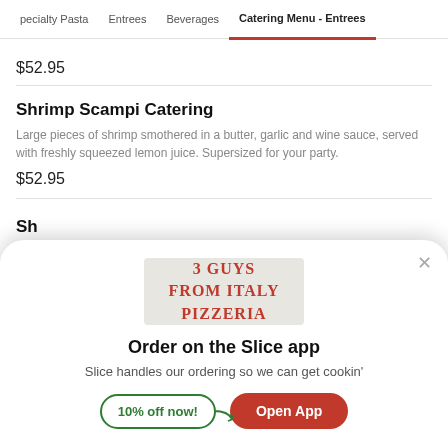pecialty Pasta   Entrees   Beverages   Catering Menu - Entrees
$52.95
Shrimp Scampi Catering
Large pieces of shrimp smothered in a butter, garlic and wine sauce, served with freshly squeezed lemon juice. Supersized for your party.
$52.95
Sh
[Figure (logo): 3 Guys From Italy Pizzeria logo on gray background]
Order on the Slice app
Slice handles our ordering so we can get cookin'
10% off now!   Open App